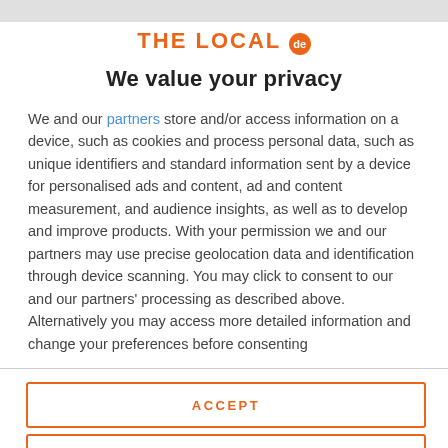[Figure (logo): THE LOCAL de logo in orange with 'de' in orange circle]
We value your privacy
We and our partners store and/or access information on a device, such as cookies and process personal data, such as unique identifiers and standard information sent by a device for personalised ads and content, ad and content measurement, and audience insights, as well as to develop and improve products. With your permission we and our partners may use precise geolocation data and identification through device scanning. You may click to consent to our and our partners' processing as described above. Alternatively you may access more detailed information and change your preferences before consenting
ACCEPT
MORE OPTIONS
me badly, it's better not to treat them in the same